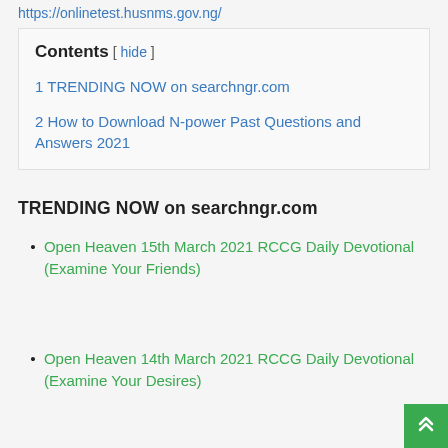https://onlinetest.husnms.gov.ng/
Contents [ hide ]
1 TRENDING NOW on searchngr.com
2 How to Download N-power Past Questions and Answers 2021
TRENDING NOW on searchngr.com
Open Heaven 15th March 2021 RCCG Daily Devotional (Examine Your Friends)
Open Heaven 14th March 2021 RCCG Daily Devotional (Examine Your Desires)